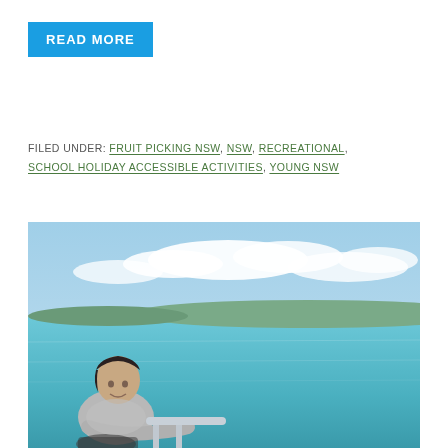READ MORE
FILED UNDER: FRUIT PICKING NSW, NSW, RECREATIONAL, SCHOOL HOLIDAY ACCESSIBLE ACTIVITIES, YOUNG NSW
[Figure (photo): A young man in a grey t-shirt sitting on a boat or dock railing, smiling, with turquoise water, distant tree-covered hills, and a blue sky with white clouds in the background.]